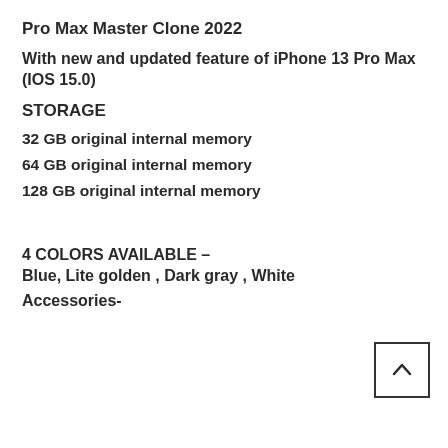Pro Max Master Clone 2022
With new and updated feature of iPhone 13 Pro Max (IOS 15.0)
STORAGE
32 GB original internal memory
64 GB original internal memory
128 GB original internal memory
4 COLORS AVAILABLE –
Blue, Lite golden , Dark gray , White
Accessories-